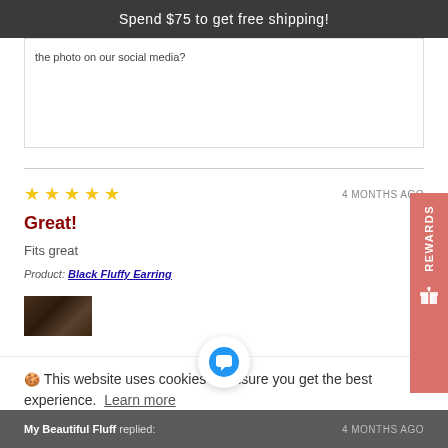Spend $75 to get free shipping!
the photo on our social media?
★ ★ ★ ★ ★   4 MONTHS AGO
Great!
Fits great
Product: Black Fluffy Earring
[Figure (photo): Small dark thumbnail image of product]
🍪 This website uses cookies to ensure you get the best experience. Learn more
My Beautiful Fluff replied:   4 MONTHS AGO